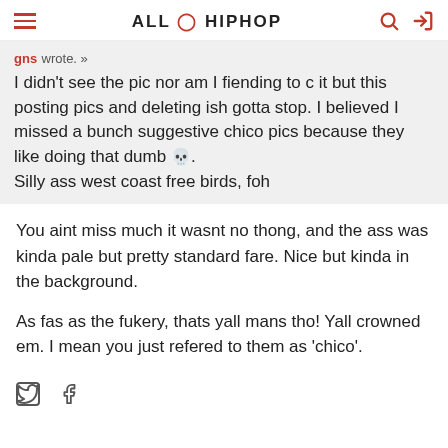ALL HIP HOP
gns wrote. »
I didn't see the pic nor am I fiending to c it but this posting pics and deleting ish gotta stop. I believed I missed a bunch suggestive chico pics because they like doing that dumb 💀.
Silly ass west coast free birds, foh
You aint miss much it wasnt no thong, and the ass was kinda pale but pretty standard fare. Nice but kinda in the background.
As fas as the fukery, thats yall mans tho! Yall crowned em. I mean you just refered to them as 'chico'.